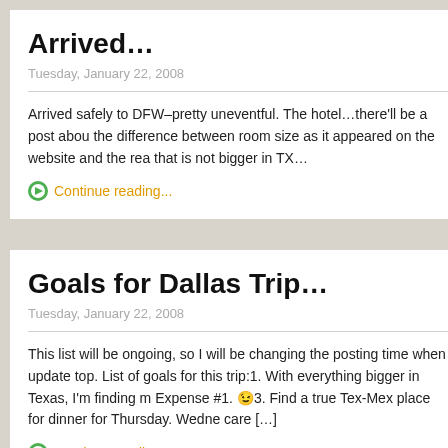Arrived…
Tuesday, January 22, 2008
Arrived safely to DFW–pretty uneventful. The hotel…there'll be a post about the difference between room size as it appeared on the website and the rea… that is not bigger in TX…
Continue reading...
Goals for Dallas Trip…
Tuesday, January 22, 2008
This list will be ongoing, so I will be changing the posting time when update top. List of goals for this trip:1. With everything bigger in Texas, I'm finding m… Expense #1. 😉3. Find a true Tex-Mex place for dinner for Thursday. Wedne… care […]
Continue reading...